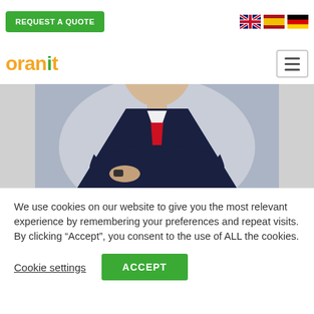[Figure (screenshot): Website header with REQUEST A QUOTE green button, flag icons (UK, Spain, Germany), oranit logo, hamburger menu icon, and a hero photo of a businessman in dark suit with red tie, arms crossed]
We use cookies on our website to give you the most relevant experience by remembering your preferences and repeat visits. By clicking “Accept”, you consent to the use of ALL the cookies.
Cookie settings
ACCEPT